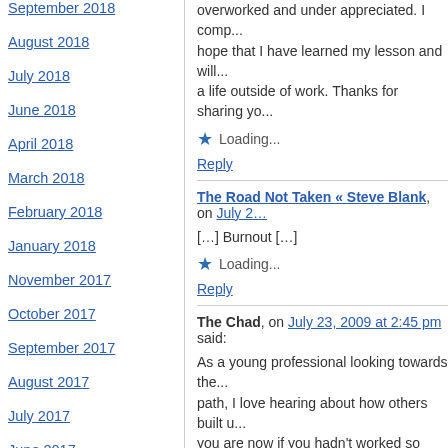September 2018
August 2018
July 2018
June 2018
April 2018
March 2018
February 2018
January 2018
November 2017
October 2017
September 2017
August 2017
July 2017
June 2017
May 2017
April 2017
March 2017
overworked and under appreciated. I comp... hope that I have learned my lesson and will... a life outside of work. Thanks for sharing yo...
Loading...
Reply
The Road Not Taken « Steve Blank, on July 2...
[…] Burnout […]
Loading...
Reply
The Chad, on July 23, 2009 at 2:45 pm said:
As a young professional looking towards the... path, I love hearing about how others built u... you are now if you hadn't worked so hard th... denying myself future opportunities? I hope ... whether at my own company or through oth... weeks to hit my goals?
Thanks for the great insight, I'm so glad I fo...
Loading...
Reply